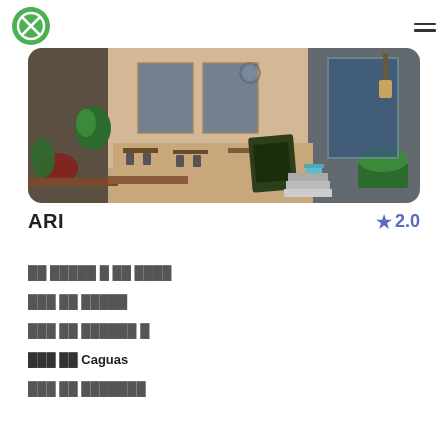ARI — app navigation header with logo and hamburger menu
[Figure (photo): Outdoor restaurant/cafe scene with tables, chairs, plants, and a chalkboard menu sign on a city street]
ARI
⭐ 2.0
██ █████ █ ██ ████
███ ██ █████
███ ██ ██████ █
███ ██ Caguas
███ ██ ███████